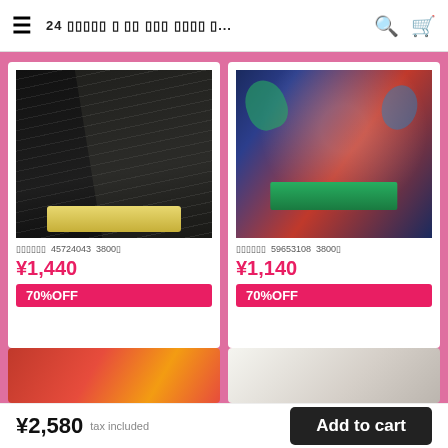≡  24 ██████ █ ██ ███ ████ █...  🔍  🛒
[Figure (photo): Black striped kimono with yellow obi belt]
██████  45724043  3800█
¥1,440
70%OFF
[Figure (photo): Colorful kimono with navy, red patterns and green obi belt]
██████  59653108  3800█
¥1,140
70%OFF
[Figure (photo): Partial view of red and orange kimono fabric]
[Figure (photo): Partial view of light-colored kimono]
¥2,580  tax included    Add to cart